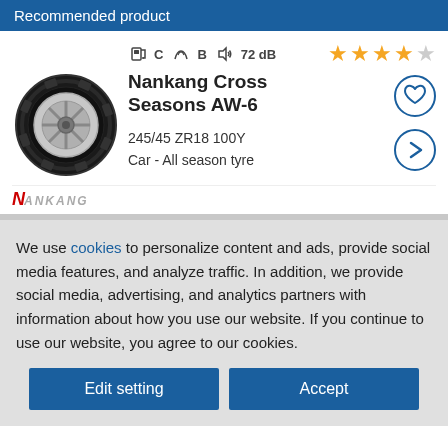Recommended product
[Figure (screenshot): Product card for Nankang Cross Seasons AW-6 tyre with EU label icons (fuel C, wet grip B, noise 72 dB), 4 out of 5 star rating, tyre image, heart and arrow icons]
We use cookies to personalize content and ads, provide social media features, and analyze traffic. In addition, we provide social media, advertising, and analytics partners with information about how you use our website. If you continue to use our website, you agree to our cookies.
Edit setting  Accept